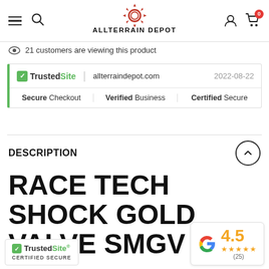ALLTERRAIN DEPOT — navigation header with menu, search, logo, account, cart (0)
21 customers are viewing this product
[Figure (screenshot): TrustedSite widget showing allterraindepot.com dated 2022-08-22 with Secure Checkout, Verified Business, Certified Secure badges]
DESCRIPTION
RACE TECH SHOCK GOLD VALVE SMGV 5042
[Figure (logo): TrustedSite CERTIFIED SECURE badge at bottom left]
[Figure (infographic): Google rating badge showing 4.5 stars with 25 reviews]